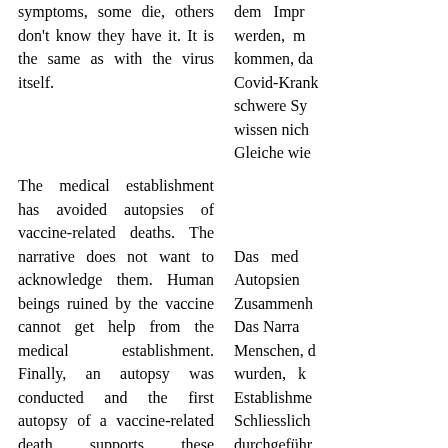symptoms, some die, others don't know they have it. It is the same as with the virus itself.
dem Impf- werden, m kommen, da Covid-Krank schwere Sym wissen nich Gleiche wie
The medical establishment has avoided autopsies of vaccine-related deaths. The narrative does not want to acknowledge them. Human beings ruined by the vaccine cannot get help from the medical establishment. Finally, an autopsy was conducted and the first autopsy of a vaccine-related death supports these conclusions:
Das med Autopsien Zusammenh Das Narrat Menschen, d wurden, k Establishme Schliesslich durchgeführ durch eine stützt diese S